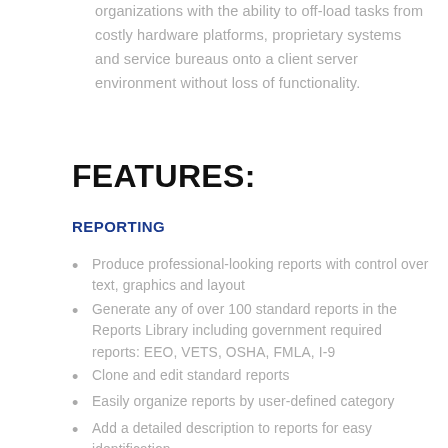organizations with the ability to off-load tasks from costly hardware platforms, proprietary systems and service bureaus onto a client server environment without loss of functionality.
FEATURES:
REPORTING
Produce professional-looking reports with control over text, graphics and layout
Generate any of over 100 standard reports in the Reports Library including government required reports: EEO, VETS, OSHA, FMLA, I-9
Clone and edit standard reports
Easily organize reports by user-defined category
Add a detailed description to reports for easy identification